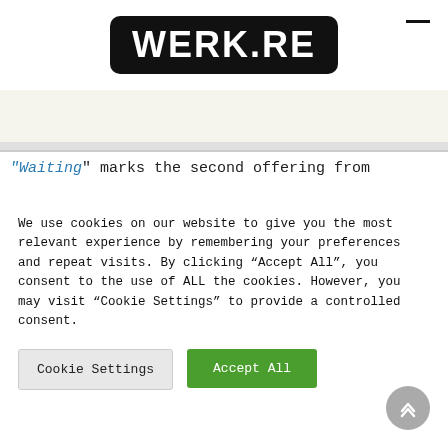[Figure (logo): WERK.RE logo in white bold text on black rounded rectangle background]
"Waiting" marks the second offering from
We use cookies on our website to give you the most relevant experience by remembering your preferences and repeat visits. By clicking “Accept All”, you consent to the use of ALL the cookies. However, you may visit “Cookie Settings” to provide a controlled consent.
Cookie Settings
Accept All